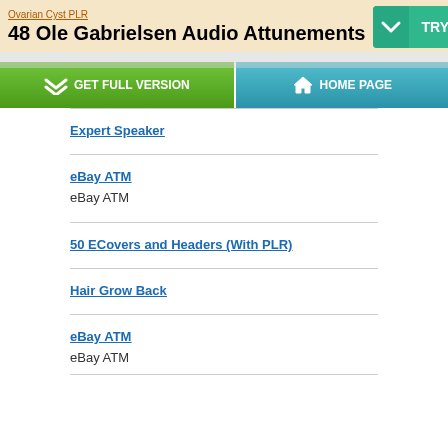Ovarian Cyst PLR
48 Ole Gabrielsen Audio Attunements
[Figure (screenshot): Navigation buttons: GET FULL VERSION (green) and HOME PAGE (blue)]
Expert Speaker
eBay ATM
eBay ATM
50 ECovers and Headers (With PLR)
Hair Grow Back
eBay ATM
eBay ATM